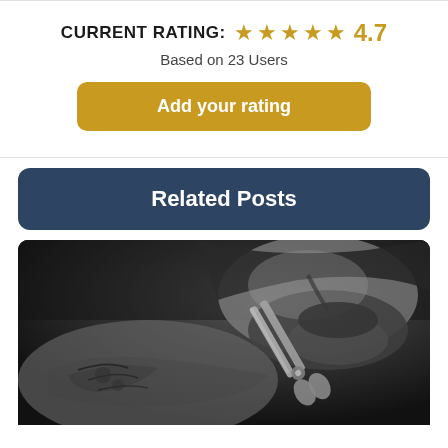CURRENT RATING: ★★★★★ 4.7
Based on 23 Users
Add your rating
Related Posts
[Figure (photo): Black and white photo of a bearded man getting his beard trimmed with scissors by a tattooed hand]